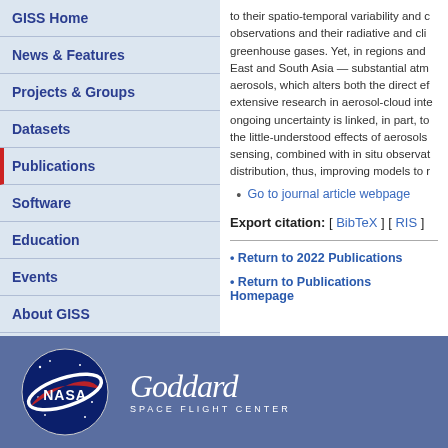GISS Home
News & Features
Projects & Groups
Datasets
Publications
Software
Education
Events
About GISS
to their spatio-temporal variability and c observations and their radiative and cli greenhouse gases. Yet, in regions and East and South Asia — substantial atm aerosols, which alters both the direct ef extensive research in aerosol-cloud inte ongoing uncertainty is linked, in part, to the little-understood effects of aerosols sensing, combined with in situ observat distribution, thus, improving models to r
Go to journal article webpage
Export citation: [ BibTeX ] [ RIS ]
• Return to 2022 Publications
• Return to Publications Homepage
[Figure (logo): NASA logo and Goddard Space Flight Center text on blue footer bar]